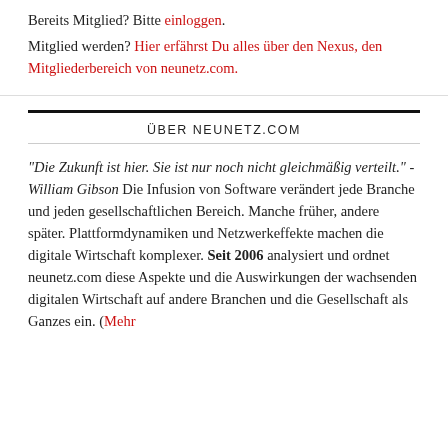Bereits Mitglied? Bitte einloggen. Mitglied werden? Hier erfährst Du alles über den Nexus, den Mitgliederbereich von neunetz.com.
ÜBER NEUNETZ.COM
"Die Zukunft ist hier. Sie ist nur noch nicht gleichmäßig verteilt." - William Gibson Die Infusion von Software verändert jede Branche und jeden gesellschaftlichen Bereich. Manche früher, andere später. Plattformdynamiken und Netzwerkeffekte machen die digitale Wirtschaft komplexer. Seit 2006 analysiert und ordnet neunetz.com diese Aspekte und die Auswirkungen der wachsenden digitalen Wirtschaft auf andere Branchen und die Gesellschaft als Ganzes ein. (Mehr